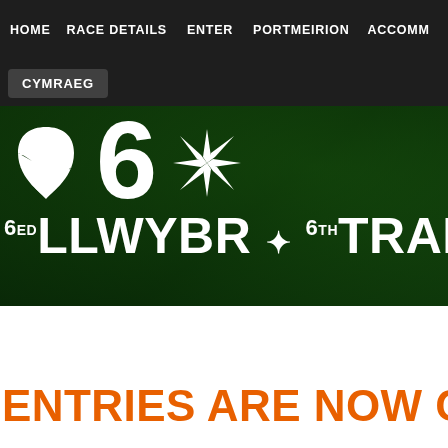HOME  RACE DETAILS  ENTER  PORTMEIRION  ACCOMM
CYMRAEG
[Figure (illustration): Green banner with white leaf icon, large '6', and white star/snowflake icon. Text reads '6ED LLWYBR * 6TH TRAIL' in white on dark green background with forest imagery.]
ENTRIES ARE NOW CL